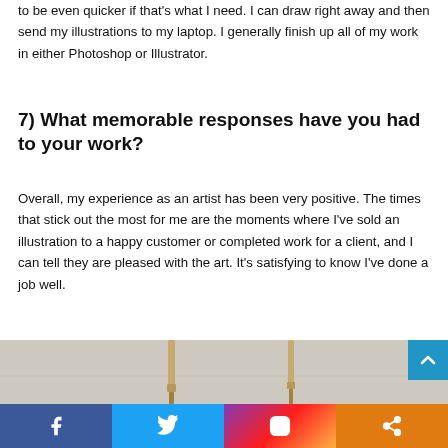to be even quicker if that's what I need. I can draw right away and then send my illustrations to my laptop. I generally finish up all of my work in either Photoshop or Illustrator.
7) What memorable responses have you had to your work?
Overall, my experience as an artist has been very positive. The times that stick out the most for me are the moments where I've sold an illustration to a happy customer or completed work for a client, and I can tell they are pleased with the art. It's satisfying to know I've done a job well.
[Figure (photo): Partial photo showing wooden drawing/painting tools (palette knives or similar) on a light grey background, partially cut off at bottom of page.]
[Figure (infographic): Social media share bar with Facebook, Twitter, Instagram, and share buttons, plus a scroll-to-top arrow button.]